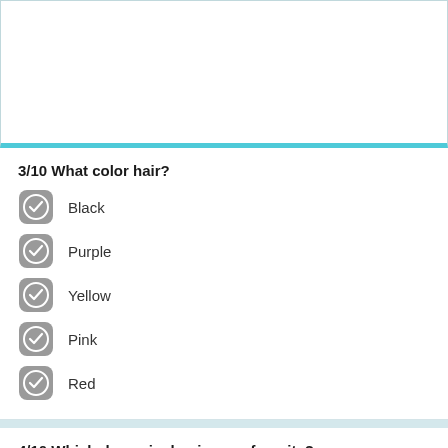[Figure (other): Top image area, white background with teal/cyan bottom border]
3/10 What color hair?
Black
Purple
Yellow
Pink
Red
4/10 Which dynamic duo is your favorite?
Seraphina and John (friends)